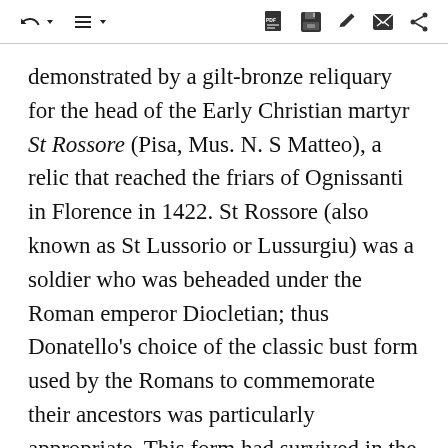[toolbar with navigation and action icons]
demonstrated by a gilt-bronze reliquary for the head of the Early Christian martyr St Rossore (Pisa, Mus. N. S Matteo), a relic that reached the friars of Ognissanti in Florence in 1422. St Rossore (also known as St Lussorio or Lussurgiu) was a soldier who was beheaded under the Roman emperor Diocletian; thus Donatello's choice of the classic bust form used by the Romans to commemorate their ancestors was particularly appropriate. This form had survived in the Middle Ages as a container for head relics, but the faces had tended to be purely symbolic. Donatello, on the contrary, endowed his saint with lifelike, though imaginary, features and, with its knitted brow, an expression of intense anxiety appropriate to a victim of